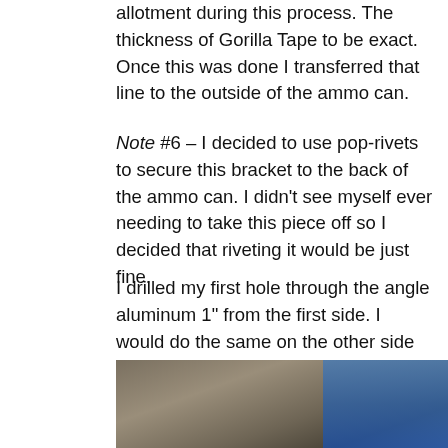allotment during this process. The thickness of Gorilla Tape to be exact. Once this was done I transferred that line to the outside of the ammo can.
Note #6 – I decided to use pop-rivets to secure this bracket to the back of the ammo can. I didn't see myself ever needing to take this piece off so I decided that riveting it would be just fine.
I drilled my first hole through the angle aluminum 1" from the first side. I would do the same on the other side of the aluminum angle as well. I lined up the angle alu
[Figure (photo): Photo of an ammo can with angle aluminum bracket, showing a metal surface with a blue handle or tool visible on the right side.]